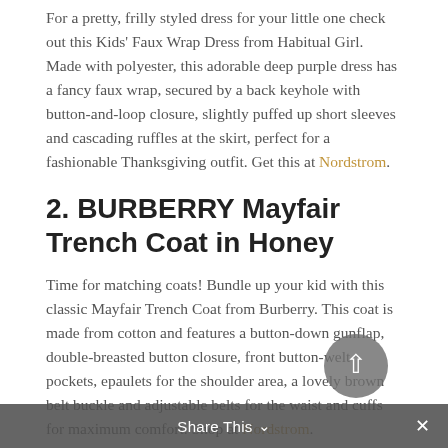For a pretty, frilly styled dress for your little one check out this Kids' Faux Wrap Dress from Habitual Girl. Made with polyester, this adorable deep purple dress has a fancy faux wrap, secured by a back keyhole with button-and-loop closure, slightly puffed up short sleeves and cascading ruffles at the skirt, perfect for a fashionable Thanksgiving outfit. Get this at Nordstrom.
2. BURBERRY Mayfair Trench Coat in Honey
Time for matching coats! Bundle up your kid with this classic Mayfair Trench Coat from Burberry. This coat is made from cotton and features a button-down gunflap, double-breasted button closure, front button-welt pockets, epaulets for the shoulder area, a lovely brown belt buckle and adjustable belts for the waist and cuffs for maximum comfort. Shop at Nordstrom.
Share This